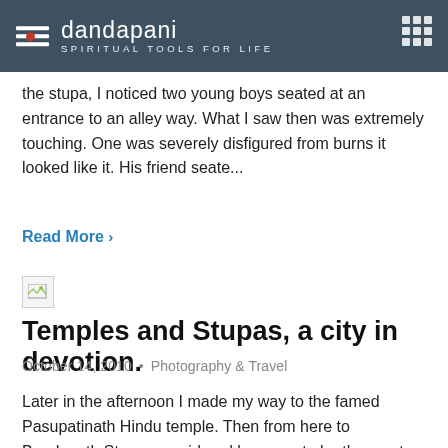dandapani — SPIRITUAL TOOLS FOR LIFE
the stupa, I noticed two young boys seated at an entrance to an alley way. What I saw then was extremely touching. One was severely disfigured from burns it looked like it. His friend seate...
Read More ›
[Figure (photo): Broken/missing image placeholder thumbnail]
Temples and Stupas, a city in devotion.
October 14, 2010 • Photography & Travel
Later in the afternoon I made my way to the famed Pasupatinath Hindu temple. Then from here to Boudanath Stupa, considered by many to be the most holy of Tibetan Buddhist shrines outside of Tibet. Share